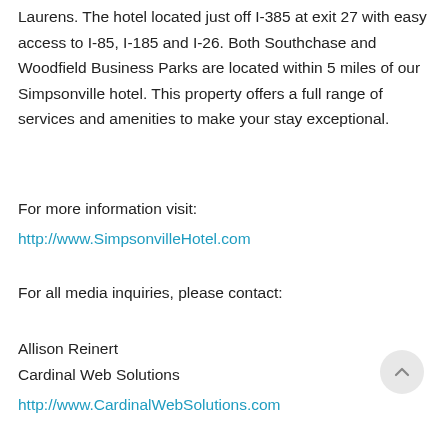Laurens. The hotel located just off I-385 at exit 27 with easy access to I-85, I-185 and I-26. Both Southchase and Woodfield Business Parks are located within 5 miles of our Simpsonville hotel. This property offers a full range of services and amenities to make your stay exceptional.
For more information visit:
http://www.SimpsonvilleHotel.com
For all media inquiries, please contact:
Allison Reinert
Cardinal Web Solutions
http://www.CardinalWebSolutions.com